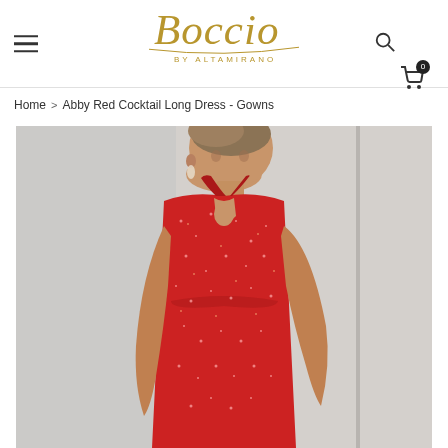Boccio by Altamirano — navigation header with hamburger menu, logo, search and cart icons
Home > Abby Red Cocktail Long Dress - Gowns
[Figure (photo): Model wearing a red sequined halter-neck cocktail dress with keyhole neckline, posing against a light gray background]